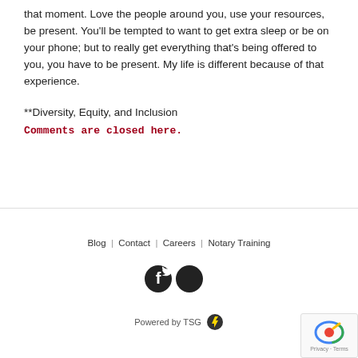that moment. Love the people around you, use your resources, be present. You'll be tempted to want to get extra sleep or be on your phone; but to really get everything that's being offered to you, you have to be present. My life is different because of that experience.
**Diversity, Equity, and Inclusion
Comments are closed here.
Blog | Contact | Careers | Notary Training
[Figure (other): Social media icons: Facebook and Twitter circular dark icons]
Powered by TSG
[Figure (other): reCAPTCHA badge with Privacy and Terms links]